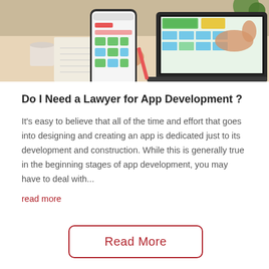[Figure (photo): Person holding a smartphone displaying app wireframes/UI mockups, with an open laptop in the background showing a similar UI design on screen, on a desk with papers and other items.]
Do I Need a Lawyer for App Development ?
It's easy to believe that all of the time and effort that goes into designing and creating an app is dedicated just to its development and construction. While this is generally true in the beginning stages of app development, you may have to deal with...
read more
Read More